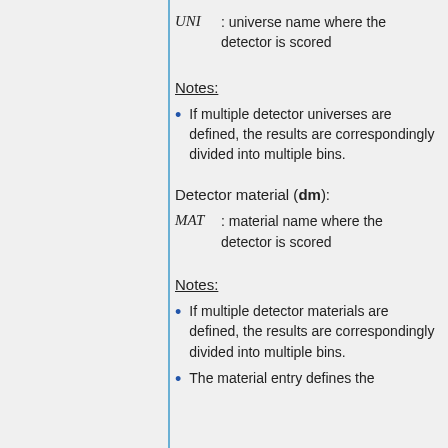UNI : universe name where the detector is scored
Notes:
If multiple detector universes are defined, the results are correspondingly divided into multiple bins.
Detector material (dm):
MAT : material name where the detector is scored
Notes:
If multiple detector materials are defined, the results are correspondingly divided into multiple bins.
The material entry defines the